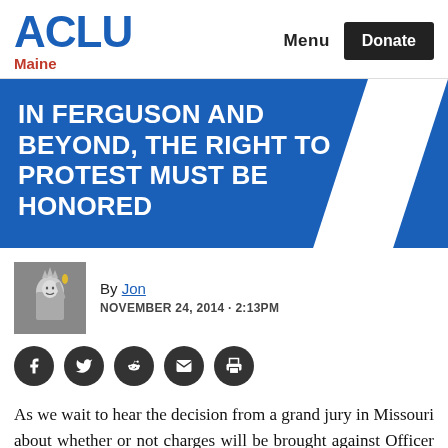[Figure (logo): ACLU Maine logo with blue ACLU text and red Maine text below]
Menu  Donate
IN FERGUSON AND BEYOND, THE RIGHT TO PROTEST MUST BE HONORED
By Jon
NOVEMBER 24, 2014 - 2:13PM
[Figure (illustration): Statue of Liberty avatar/author photo]
[Figure (infographic): Social share icons: Facebook, Twitter, Reddit, Email, Print]
As we wait to hear the decision from a grand jury in Missouri about whether or not charges will be brought against Officer Wilson in the killing of Michael Brown, ACLU staff is in